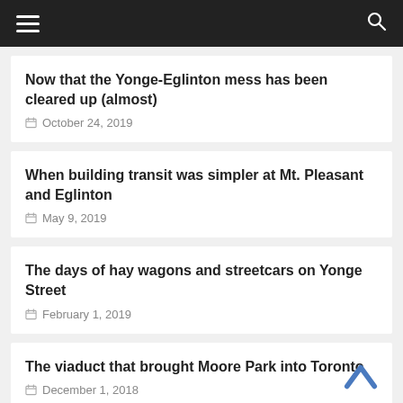Navigation menu with hamburger icon and search icon
Now that the Yonge-Eglinton mess has been cleared up (almost)
October 24, 2019
When building transit was simpler at Mt. Pleasant and Eglinton
May 9, 2019
The days of hay wagons and streetcars on Yonge Street
February 1, 2019
The viaduct that brought Moore Park into Toronto
December 1, 2018